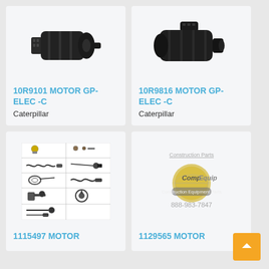[Figure (photo): Electric starter motor, dark/black color, cylindrical shape with connector end visible]
10R9101 MOTOR GP-ELEC -C
Caterpillar
[Figure (photo): Electric starter motor, dark/black color, cylindrical shape, same style as left motor]
10R9816 MOTOR GP-ELEC -C
Caterpillar
[Figure (photo): Grid/catalog sheet showing multiple electrical cables, sensors, and connectors for construction equipment parts]
1115497 MOTOR
[Figure (logo): CompEquip Construction Equipment Parts logo with globe graphic, text 'Construction Parts' above, phone number 888-983-7847 below]
1129565 MOTOR